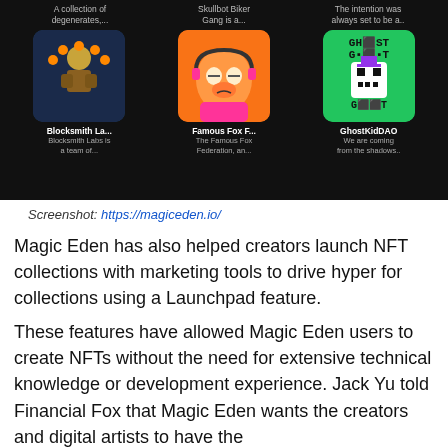[Figure (screenshot): Screenshot of Magic Eden NFT marketplace showing 6 NFT collections in a 2-row, 3-column grid: top row descriptions and bottom row with Blocksmith La..., Famous Fox F..., and GhostKidDAO NFT thumbnails with descriptions]
Screenshot: https://magiceden.io/
Magic Eden has also helped creators launch NFT collections with marketing tools to drive hyper for collections using a Launchpad feature.
These features have allowed Magic Eden users to create NFTs without the need for extensive technical knowledge or development experience. Jack Yu told Financial Fox that Magic Eden wants the creators and digital artists to have the